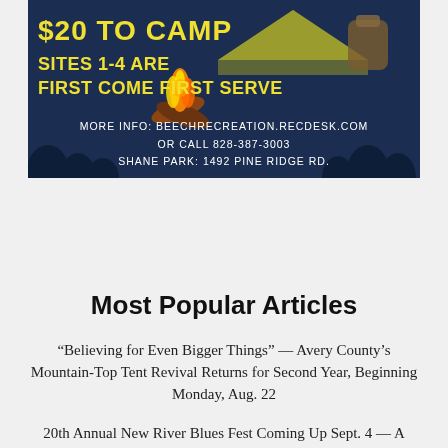[Figure (illustration): Camping advertisement poster with dark navy background. Shows '$20 TO CAMP SITES 1-4 ARE FIRST COME FIRST SERVE' in yellow block letters on the left, with a campfire and logs illustration and a tent/backpack graphic on the right. Bottom center text: 'MORE INFO: BEECHRECREATION.RECDESK.COM OR CALL 828-387-3003 SHANE PARK: 1492 PINE RIDGE RD.']
Most Popular Articles
“Believing for Even Bigger Things” — Avery County’s Mountain-Top Tent Revival Returns for Second Year, Beginning Monday, Aug. 22
20th Annual New River Blues Fest Coming Up Sept. 4 — A Labor of Love For The King Bees